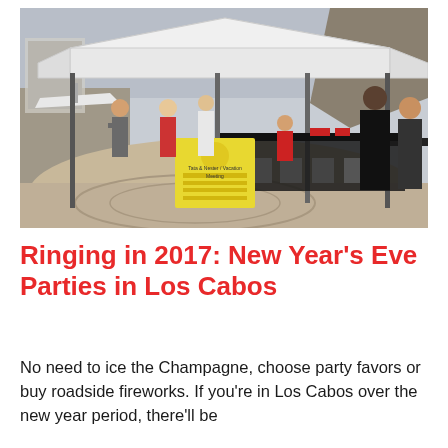[Figure (photo): Outdoor market or event stall under a large white canopy tent at a marina/waterfront. Multiple people stand and sit around tables. A yellow sign in the foreground reads 'Tata & Nester / Vacation Meeting'. Boats and a rocky hill are visible in the background.]
Ringing in 2017: New Year's Eve Parties in Los Cabos
No need to ice the Champagne, choose party favors or buy roadside fireworks. If you're in Los Cabos over the new year period, there'll be